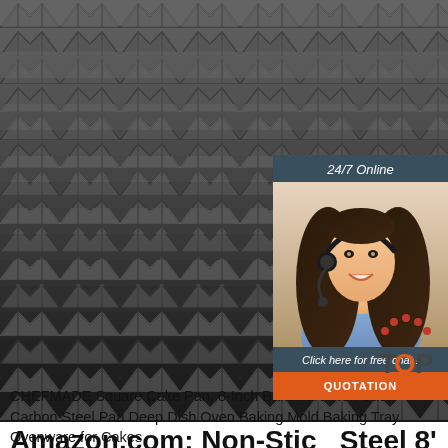[Figure (photo): Stack of steel angle bars/metal profiles arranged in a pile, viewed from the side, dark grey metallic material filling most of the frame]
[Figure (photo): Chat widget overlay on dark teal/slate background showing '24/7 Online' text and a smiling woman with a headset (customer service representative), with 'Click here for free chat!' text and an orange 'QUOTATION' button]
Amazon.com: Non-Stick Steel 8' Square Baking Pan by
CHEFMADE Square Cake Pan, 8-Inch Bakeware Non-Stick Carbon Steel Pan Deep Dish Oven Baking Mold Baking Tray Ovenware for Cakes